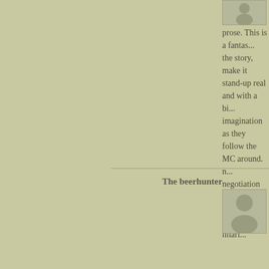easily with predictable prose. This is a fantasy... the story, make it stand-up real and with a bit of imagination as they follow the MC around. negotiation scene flows with articulate hilari...
REPLY
The beerhunter
Thu 29th Dec 2011 at 12:01 am
F#cking awesome…
REPLY
Russell Blake — Thu 29th Dec 2011 at...
Well thank you. Appreciate it. But it just... the chimps.
REPLY
Sera
Thu 29th Dec 2011 at 2:05 pm
It lost me. I stopped reading after the first pa... chunk has to grab me, and this didn't.
REPLY